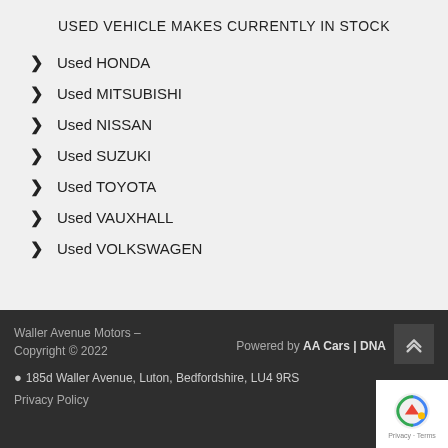USED VEHICLE MAKES CURRENTLY IN STOCK
Used HONDA
Used MITSUBISHI
Used NISSAN
Used SUZUKI
Used TOYOTA
Used VAUXHALL
Used VOLKSWAGEN
Waller Avenue Motors - Copyright © 2022
185d Waller Avenue, Luton, Bedfordshire, LU4 9RS
Powered by AA Cars | DNA
Privacy Policy